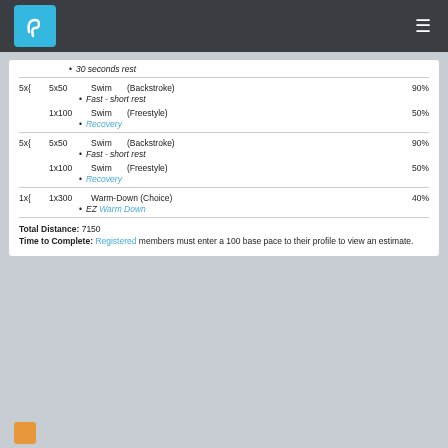SwimPlan logo and navigation
30 seconds rest
5x{ 5x50 Swim (Backstroke) 90% Fast - short rest
1x100 Swim (Freestyle) 50% Recovery
5x{ 5x50 Swim (Backstroke) 90% Fast - short rest
1x100 Swim (Freestyle) 50% Recovery
1x{ 1x300 Warm-Down (Choice) 40% EZ Warm Down
Total Distance: 7150
Time to Complete: Registered members must enter a 100 base pace to their profile to view an estimate.